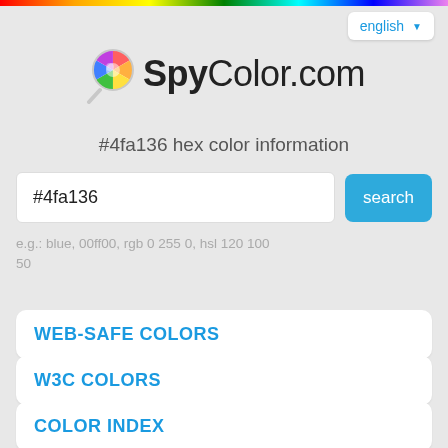[Figure (illustration): Rainbow gradient horizontal bar at the top of the page]
english ▼
[Figure (logo): SpyColor.com logo with colorful magnifying glass icon]
#4fa136 hex color information
#4fa136
search
e.g.: blue, 00ff00, rgb 0 255 0, hsl 120 100 50
WEB-SAFE COLORS
W3C COLORS
COLOR INDEX